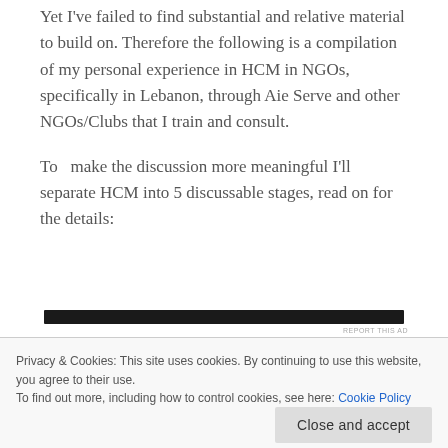Yet I've failed to find substantial and relative material to build on. Therefore the following is a compilation of my personal experience in HCM in NGOs, specifically in Lebanon, through Aie Serve and other NGOs/Clubs that I train and consult.
To  make the discussion more meaningful I'll separate HCM into 5 discussable stages, read on for the details:
[Figure (other): Dark horizontal ad banner bar with 'REPORT THIS AD' label in small gray text on the right]
Privacy & Cookies: This site uses cookies. By continuing to use this website, you agree to their use.
To find out more, including how to control cookies, see here: Cookie Policy
Close and accept
organization, work needs to start on the